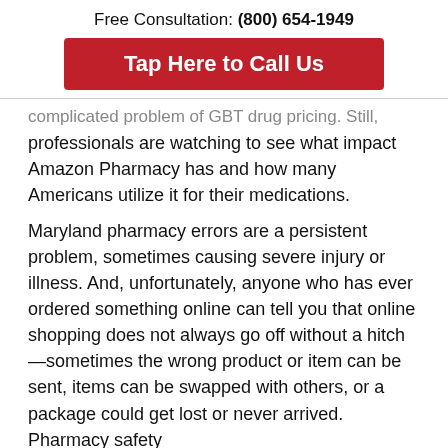Free Consultation: (800) 654-1949
Tap Here to Call Us
complicated problem of GBT drug pricing. Still, professionals are watching to see what impact Amazon Pharmacy has and how many Americans utilize it for their medications.
Maryland pharmacy errors are a persistent problem, sometimes causing severe injury or illness. And, unfortunately, anyone who has ever ordered something online can tell you that online shopping does not always go off without a hitch—sometimes the wrong product or item can be sent, items can be swapped with others, or a package could get lost or never arrived. Pharmacy safety